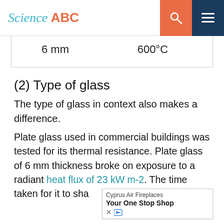Science ABC
| 6 mm | 600°C |
(2) Type of glass
The type of glass in context also makes a difference.
Plate glass used in commercial buildings was tested for its thermal resistance. Plate glass of 6 mm thickness broke on exposure to a radiant heat flux of 23 kW m-2. The time taken for it to sha...